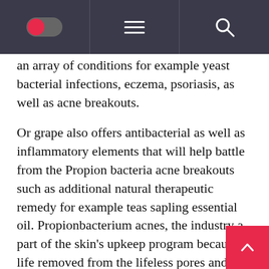[toggle icon] [menu icon] [search icon]
an array of conditions for example yeast bacterial infections, eczema, psoriasis, as well as acne breakouts.
Or grape also offers antibacterial as well as inflammatory elements that will help battle from the Propion bacteria acne breakouts such as additional natural therapeutic remedy for example teas sapling essential oil. Propionbacterium acnes, the industry a part of the skin's upkeep program because it life removed from the lifeless pores and skin tissue, may be the germs which grows fastest upon the skin. Particular research display how the draw out may reduce the actual manufacturing associated with natural oils through the skin we have too. Natural oils is actually